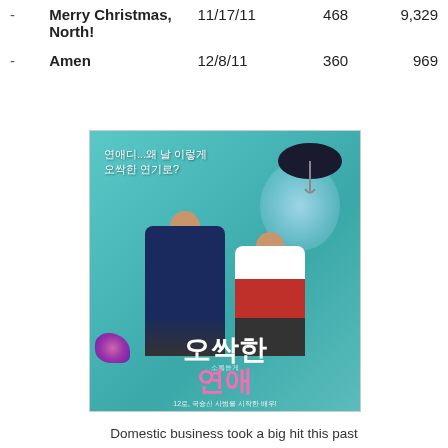|  | Title | Date | Screens | Admissions |
| --- | --- | --- | --- | --- |
| - | Merry Christmas, North! | 11/17/11 | 468 | 9,329 |
| - | Amen | 12/8/11 | 360 | 969 |
[Figure (photo): Korean movie poster for a romantic comedy film showing a young man in a navy suit and a young woman in a red outfit holding a dark umbrella, seated on a bench. Korean text title displayed prominently.]
Domestic business took a big hit this past